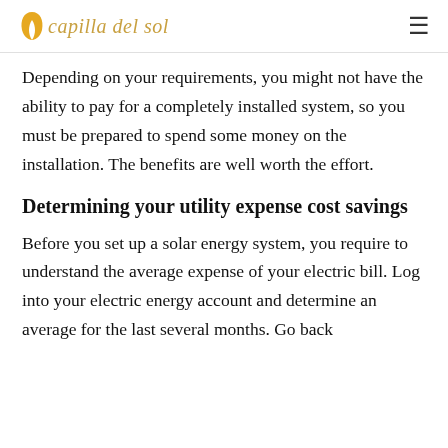capilla del sol
Depending on your requirements, you might not have the ability to pay for a completely installed system, so you must be prepared to spend some money on the installation. The benefits are well worth the effort.
Determining your utility expense cost savings
Before you set up a solar energy system, you require to understand the average expense of your electric bill. Log into your electric energy account and determine an average for the last several months. Go back